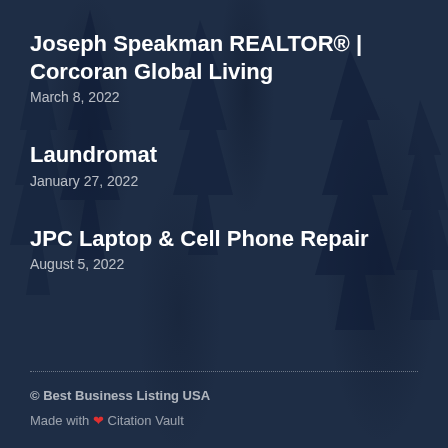Joseph Speakman REALTOR® | Corcoran Global Living
March 8, 2022
Laundromat
January 27, 2022
JPC Laptop & Cell Phone Repair
August 5, 2022
© Best Business Listing USA
Made with ❤ Citation Vault